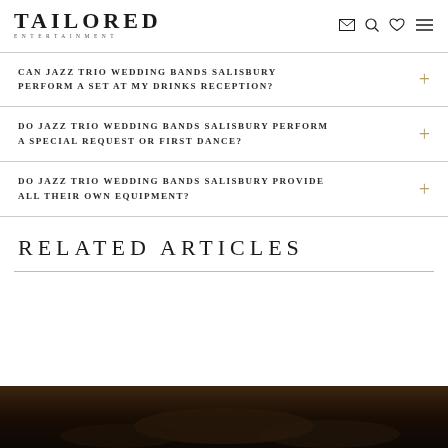TAILORED ENTERTAINMENT
CAN JAZZ TRIO WEDDING BANDS SALISBURY PERFORM A SET AT MY DRINKS RECEPTION?
DO JAZZ TRIO WEDDING BANDS SALISBURY PERFORM A SPECIAL REQUEST OR FIRST DANCE?
DO JAZZ TRIO WEDDING BANDS SALISBURY PROVIDE ALL THEIR OWN EQUIPMENT?
RELATED ARTICLES
[Figure (photo): Dark photo of performers at a wedding event, partially visible at bottom of page]